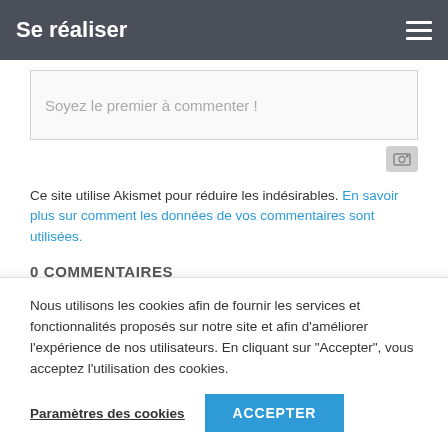Se réaliser
Soyez le premier à commenter !
Ce site utilise Akismet pour réduire les indésirables. En savoir plus sur comment les données de vos commentaires sont utilisées.
0 COMMENTAIRES
[Figure (other): Lightning bolt icon (yellow) and flame icon (orange-red)]
Nous utilisons les cookies afin de fournir les services et fonctionnalités proposés sur notre site et afin d'améliorer l'expérience de nos utilisateurs. En cliquant sur "Accepter", vous acceptez l'utilisation des cookies.
Paramètres des cookies   ACCEPTER